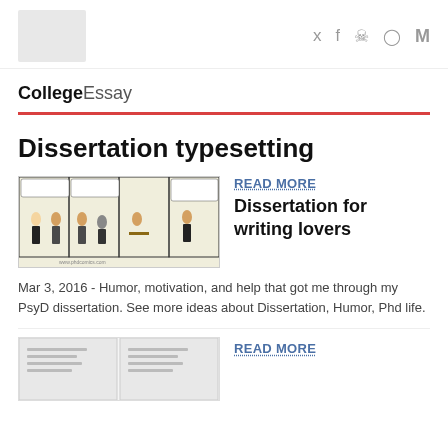CollegeEssay — social icons: Twitter, Facebook, Snapchat, Instagram, M
CollegeEssay
Dissertation typesetting
[Figure (illustration): Four-panel PhD Comics webcomic strip showing characters in conversation]
READ MORE
Dissertation for writing lovers
Mar 3, 2016 - Humor, motivation, and help that got me through my PsyD dissertation. See more ideas about Dissertation, Humor, Phd life.
READ MORE
[Figure (illustration): Partial view of a document or article image at bottom of page]